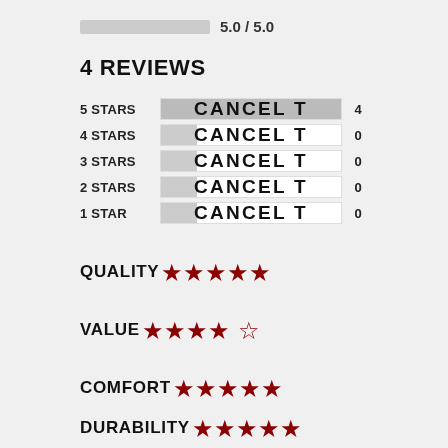5.0 / 5.0
4 REVIEWS
| Stars | Bar | Count |
| --- | --- | --- |
| 5 STARS | CANCEL T | 4 |
| 4 STARS | CANCEL T | 0 |
| 3 STARS | CANCEL T | 0 |
| 2 STARS | CANCEL T | 0 |
| 1 STAR | CANCEL T | 0 |
QUALITY ★★★★★ (5 filled)
VALUE ★★★★☆ (4 filled, 1 empty)
COMFORT ★★★★★ (5 filled)
DURABILITY ★★★★★ (5 filled)